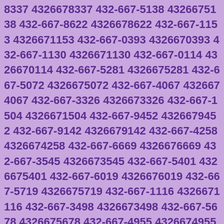8337 4326678337 432-667-5138 4326675138 432-667-8622 4326678622 432-667-1153 4326671153 432-667-0393 4326670393 432-667-1130 4326671130 432-667-0114 4326670114 432-667-5281 4326675281 432-667-5072 4326675072 432-667-4067 4326674067 432-667-3326 4326673326 432-667-1504 4326671504 432-667-9452 4326679452 432-667-9142 4326679142 432-667-4258 4326674258 432-667-6669 4326676669 432-667-3545 4326673545 432-667-5401 4326675401 432-667-6019 4326676019 432-667-5719 4326675719 432-667-1116 4326671116 432-667-3498 4326673498 432-667-5678 4326675678 432-667-4955 4326674955 432-667-1393 4326671393 432-667-0675 4326670675 432-667-8238 4326678238 432-667-0255 4326670255 432-667-6439 4326676439 432-667-4529 4326674529 432-667-6147 4326676147 432-667-8239 4326678239 432-667-4980 4326674980 432-667-0061 4326670061 432-667-6022 4326676022 432-667-9822 4326679822 432-667-8531 4326678531 432-667-2967 4326672967 432-667-1943 4326671943 432-667-1486 4326671486 432-667-1384 4326671384 432-667-1392 4326671392 432-667-